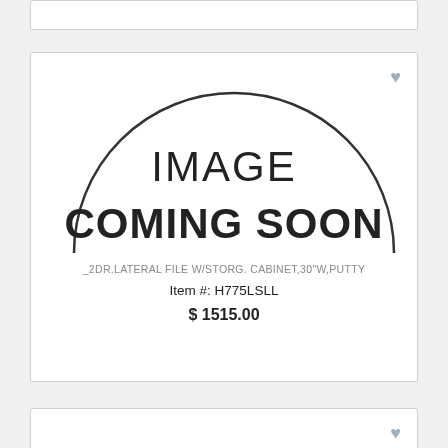[Figure (other): Partial product card at top of page, mostly cropped]
[Figure (other): Product listing card showing IMAGE COMING SOON placeholder with a semicircle graphic]
_2DR.LATERAL FILE W/STORG. CABINET,30"W,PUTTY
Item #: H775LSLL
$ 1515.00
[Figure (other): Partial product card at bottom of page, mostly cropped]